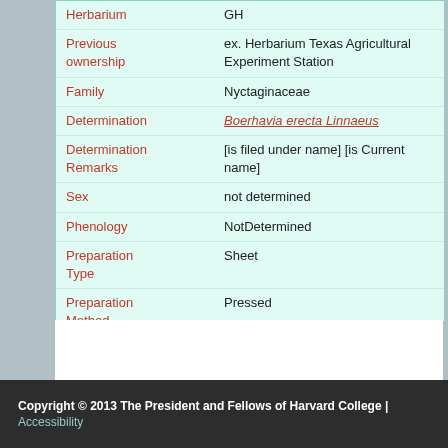| Field | Value |
| --- | --- |
| Herbarium | GH |
| Previous ownership | ex. Herbarium Texas Agricultural Experiment Station |
| Family | Nyctaginaceae |
| Determination | Boerhavia erecta Linnaeus |
| Determination Remarks | [is filed under name] [is Current name] |
| Sex | not determined |
| Phenology | NotDetermined |
| Preparation Type | Sheet |
| Preparation Method | Pressed |
| Remarks | 7594 |
Copyright © 2013 The President and Fellows of Harvard College | Accessibility